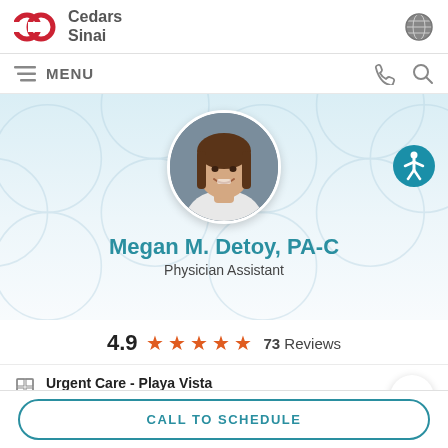[Figure (logo): Cedars-Sinai logo with red interlocking C shapes and gray text]
MENU
[Figure (photo): Circular headshot photo of Megan M. Detoy, PA-C, a woman with long brown hair, smiling, wearing a white top, against a gray background]
Megan M. Detoy, PA-C
Physician Assistant
4.9 ★★★★★ 73 Reviews
Urgent Care - Playa Vista
12746 W Jefferson Blvd - 2nd Floor
Playa Vista CA
CALL TO SCHEDULE